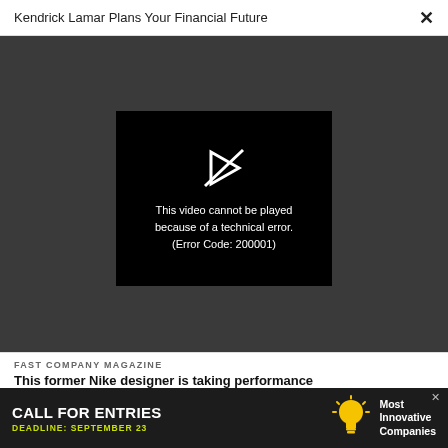Kendrick Lamar Plans Your Financial Future
[Figure (screenshot): Video player showing black screen with broken play icon and error message: This video cannot be played because of a technical error. (Error Code: 200001)]
FAST COMPANY MAGAZINE
This former Nike designer is taking performance apparel to the next level
FAST COMPANY MAGAZINE
How game designer Luis Antonio created the indie hit
[Figure (infographic): Advertisement banner: CALL FOR ENTRIES, DEADLINE: SEPTEMBER 23, Most Innovative Companies, with lightbulb icon]